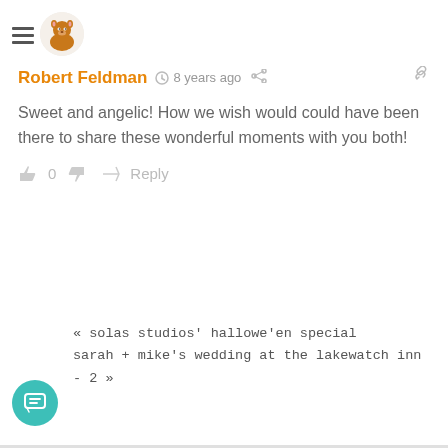Robert Feldman · 8 years ago
Sweet and angelic! How we wish would could have been there to share these wonderful moments with you both!
👍 0 👎  ➜ Reply
« solas studios' hallowe'en special
sarah + mike's wedding at the lakewatch inn - 2 »